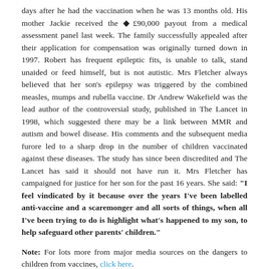days after he had the vaccination when he was 13 months old. His mother Jackie received the ◆£90,000 payout from a medical assessment panel last week. The family successfully appealed after their application for compensation was originally turned down in 1997. Robert has frequent epileptic fits, is unable to talk, stand unaided or feed himself, but is not autistic. Mrs Fletcher always believed that her son's epilepsy was triggered by the combined measles, mumps and rubella vaccine. Dr Andrew Wakefield was the lead author of the controversial study, published in The Lancet in 1998, which suggested there may be a link between MMR and autism and bowel disease. His comments and the subsequent media furore led to a sharp drop in the number of children vaccinated against these diseases. The study has since been discredited and The Lancet has said it should not have run it. Mrs Fletcher has campaigned for justice for her son for the past 16 years. She said: "I feel vindicated by it because over the years I've been labelled anti-vaccine and a scaremonger and all sorts of things, when all I've been trying to do is highlight what's happened to my son, to help safeguard other parents' children."
Note: For lots more from major media sources on the dangers to children from vaccines, click here.